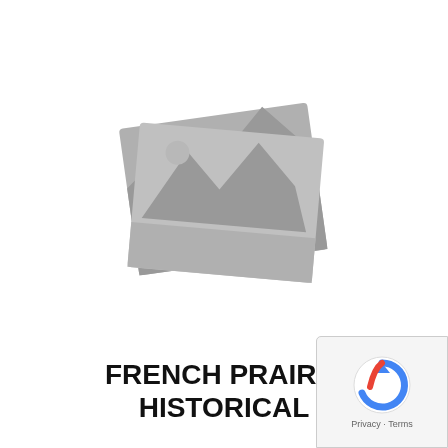Oregon Cultural Trust
[Figure (illustration): Gray placeholder image icon showing stacked photo cards with a mountain/landscape silhouette]
FRENCH PRAIRIE HISTORICAL SOCIETY
...
[Figure (other): reCAPTCHA badge showing Privacy and Terms]